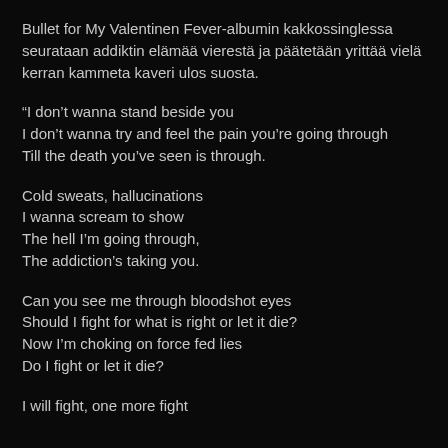Bullet for My Valentinen Fever-albumin kakkossinglessa seurataan addiktin elämää vierestä ja päätetään yrittää vielä kerran kammeta kaveri ulos suosta.
“I don’t wanna stand beside you
I don’t wanna try and feel the pain you’re going through
Till the death you’ve seen is through.
Cold sweats, hallucinations
I wanna scream to show
The hell I’m going through,
The addiction’s taking you.
Can you see me through bloodshot eyes
Should I fight for what is right or let it die?
Now I’m choking on force fed lies
Do I fight or let it die?
I will fight, one more fight